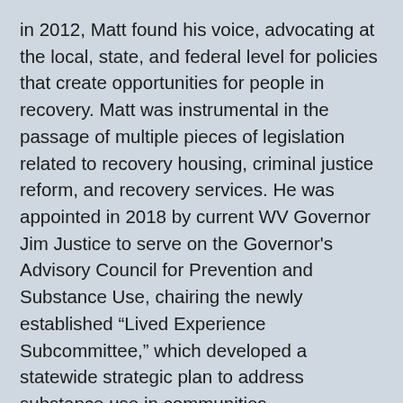in 2012, Matt found his voice, advocating at the local, state, and federal level for policies that create opportunities for people in recovery. Matt was instrumental in the passage of multiple pieces of legislation related to recovery housing, criminal justice reform, and recovery services. He was appointed in 2018 by current WV Governor Jim Justice to serve on the Governor's Advisory Council for Prevention and Substance Use, chairing the newly established “Lived Experience Subcommittee,” which developed a statewide strategic plan to address substance use in communities.
Mr. Bogg’s has extensive experience in managing state, federal, and foundation grant awards that include direct services, housing, and workforce development. He served as a STR-TA Recovery Service Consultant for BRSS-TACS/Center for Social